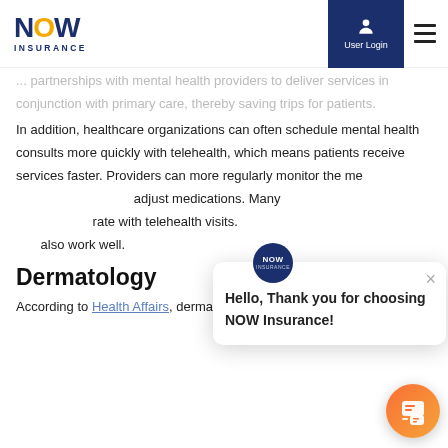NOW INSURANCE | User Login
partnerships with mental health providers to deliver services in conjunction with primary care, thereby saving trips for patients.
In addition, healthcare organizations can often schedule mental health consults more quickly with telehealth, which means patients receive services faster. Providers can more regularly monitor the mental health of their patients and adjust medications. Many also report a higher patient show rate with telehealth visits. Chronic condition management can also work well.
Dermatology
According to Health Affairs, dermatology is one specialty
[Figure (screenshot): Chat popup overlay with NOW Insurance logo, close button (×), and message: Hello, Thank you for choosing NOW Insurance!]